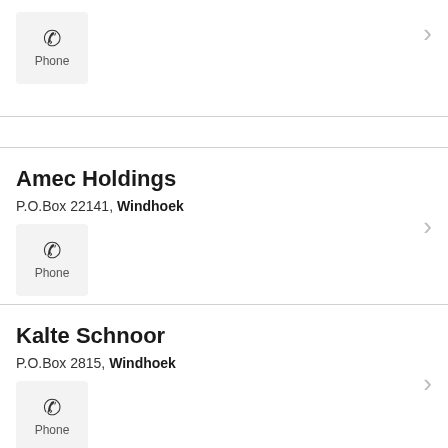[Figure (other): Phone button icon with label 'Phone' in top section]
Amec Holdings
P.O.Box 22141, Windhoek
[Figure (other): Phone button icon with label 'Phone' in Amec Holdings section]
Kalte Schnoor
P.O.Box 2815, Windhoek
[Figure (other): Phone button icon with label 'Phone' in Kalte Schnoor section]